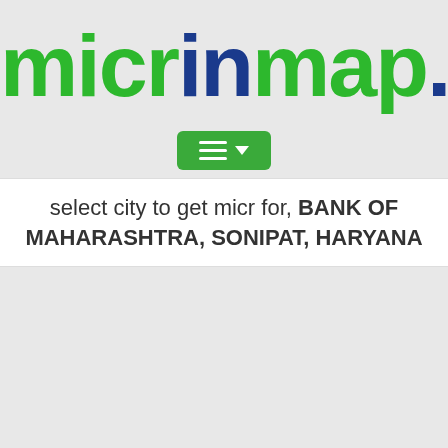[Figure (logo): micrinmap.in logo with green and blue lettering — 'micr' in green, 'in' in blue, 'map' in green, '.in' in green, with a blue dot before 'in']
[Figure (other): Green dropdown/hamburger menu button with three horizontal lines and a downward arrow]
select city to get micr for, BANK OF MAHARASHTRA, SONIPAT, HARYANA